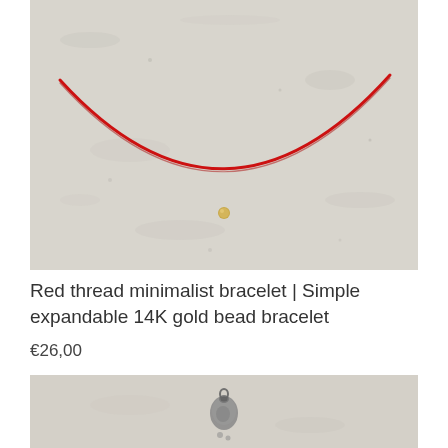[Figure (photo): A red thread minimalist bracelet with a small gold bead, laid flat on a light grey/beige textured concrete or stone surface. The bracelet forms a curved arc shape.]
Red thread minimalist bracelet | Simple expandable 14K gold bead bracelet
€26,00
[Figure (photo): Bottom portion of another jewelry product photo on a grey textured surface, showing the top of a silver pendant/charm.]